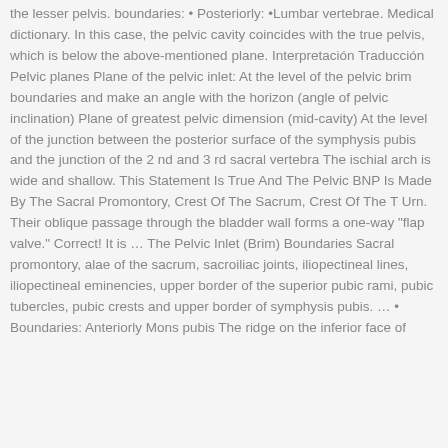the lesser pelvis. boundaries: • Posteriorly: •Lumbar vertebrae. Medical dictionary. In this case, the pelvic cavity coincides with the true pelvis, which is below the above-mentioned plane. Interpretación Traducción Pelvic planes Plane of the pelvic inlet: At the level of the pelvic brim boundaries and make an angle with the horizon (angle of pelvic inclination) Plane of greatest pelvic dimension (mid-cavity) At the level of the junction between the posterior surface of the symphysis pubis and the junction of the 2 nd and 3 rd sacral vertebra The ischial arch is wide and shallow. This Statement Is True And The Pelvic BNP Is Made By The Sacral Promontory, Crest Of The Sacrum, Crest Of The T Urn. Their oblique passage through the bladder wall forms a one-way "flap valve." Correct! It is … The Pelvic Inlet (Brim) Boundaries Sacral promontory, alae of the sacrum, sacroiliac joints, iliopectineal lines, iliopectineal eminencies, upper border of the superior pubic rami, pubic tubercles, pubic crests and upper border of symphysis pubis. … • Boundaries: Anteriorly Mons pubis The ridge on the inferior face of